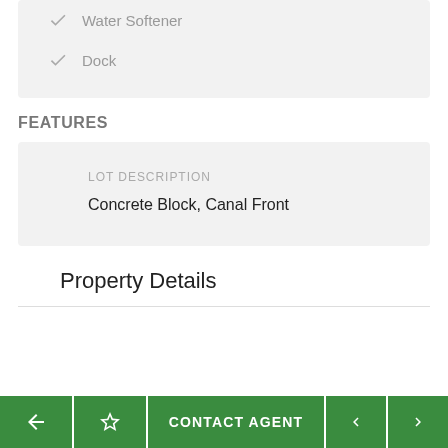Water Softener
Dock
FEATURES
LOT DESCRIPTION
Concrete Block, Canal Front
Property Details
CONTACT AGENT